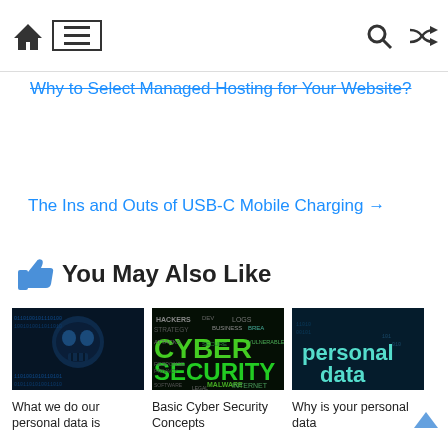Home | Menu | Search | Shuffle
Why to Select Managed Hosting for Your Website?
The Ins and Outs of USB-C Mobile Charging →
👍 You May Also Like
[Figure (photo): Dark digital skull/hacker image with blue tones and binary code]
What we do our personal data is
[Figure (photo): Cyber security word cloud with green text on black background showing words: PUBLIC, DEV, LOGS, CYBER, SECURITY, STRATEGY, ATTACKS, PRIVACY, SOFTWARE, MALWARE, INTERNET]
Basic Cyber Security Concepts
[Figure (photo): Personal data text on dark teal digital background]
Why is your personal data